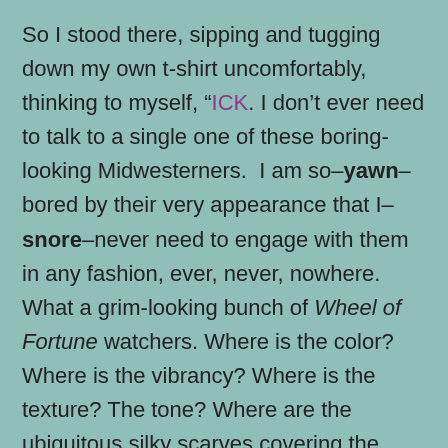So I stood there, sipping and tugging down my own t-shirt uncomfortably, thinking to myself, “ICK. I don’t ever need to talk to a single one of these boring-looking Midwesterners.  I am so–yawn–bored by their very appearance that I–snore–never need to engage with them in any fashion, ever, never, nowhere. What a grim-looking bunch of Wheel of Fortune watchers. Where is the color? Where is the vibrancy? Where is the texture? The tone? Where are the ubiquitous silky scarves covering the heads of the females with vivid hues? Where are the bright red peppers; the sounds of too many